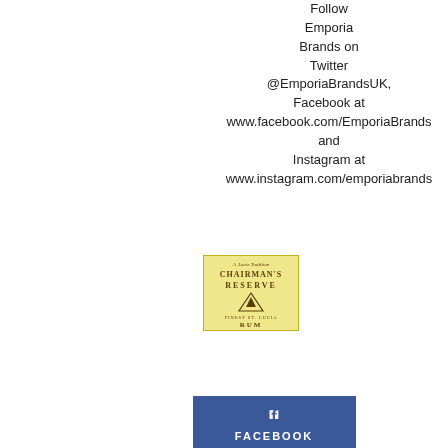Follow Emporia Brands on Twitter @EmporiaBrandsUK, Facebook at www.facebook.com/EmporiaBrands and Instagram at www.instagram.com/emporiabrands
[Figure (logo): Chairman's Reserve Rum logo — gold/cream label with mountain graphic, text: 'A. Lucie Tradition', 'CHAIRMAN'S RESERVE', 'FINEST ST. LUCIA', 'RUM']
[Figure (logo): Facebook logo badge — blue rectangle with white Facebook 'f' icon and the word FACEBOOK in white capital letters]